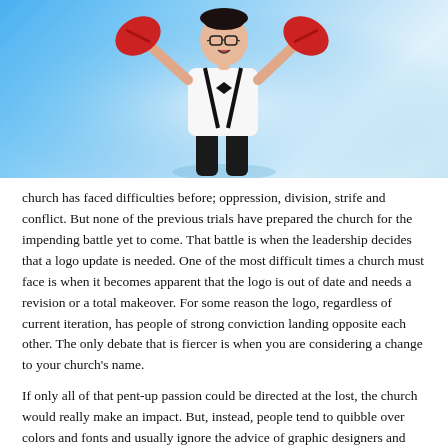[Figure (photo): Photo of a young man in a white shirt with black suspenders and bow tie, wearing red boxing gloves raised in a fighting pose, against a blue gradient background.]
church has faced difficulties before; oppression, division, strife and conflict. But none of the previous trials have prepared the church for the impending battle yet to come. That battle is when the leadership decides that a logo update is needed. One of the most difficult times a church must face is when it becomes apparent that the logo is out of date and needs a revision or a total makeover. For some reason the logo, regardless of current iteration, has people of strong conviction landing opposite each other. The only debate that is fiercer is when you are considering a change to your church's name.
If only all of that pent-up passion could be directed at the lost, the church would really make an impact. But, instead, people tend to quibble over colors and fonts and usually ignore the advice of graphic designers and other communication professionals.
What I find interesting about the controversy is that, often times, the